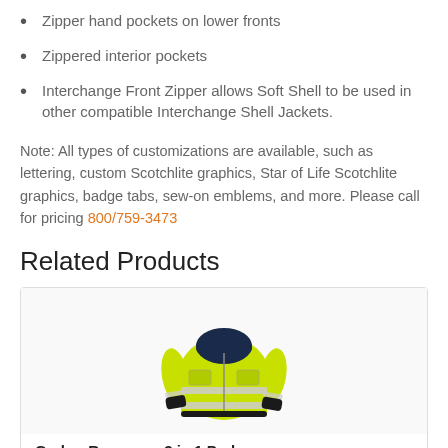Zipper hand pockets on lower fronts
Zippered interior pockets
Interchange Front Zipper allows Soft Shell to be used in other compatible Interchange Shell Jackets.
Note: All types of customizations are available, such as lettering, custom Scotchlite graphics, Star of Life Scotchlite graphics, badge tabs, sew-on emblems, and more. Please call for pricing 800/759-3473
Related Products
[Figure (photo): Hi-visibility yellow/green Gerber Response 3 in 1 Parka jacket with navy collar, reflective stripes, and chest pockets]
Gerber Response 3 in 1 Parka
GERBER RESPONSE 3 IN 1 PARKA Waterproof breathable NFPA 1999, 2008 certified Blood Borne Path…